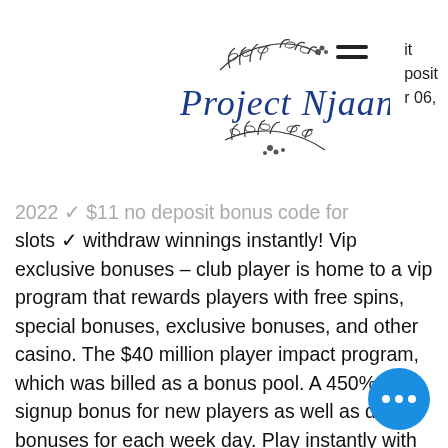Project Njaan — navigation header with logo and hamburger menu
2022 ✓ $11 no deposit bonus code for slots ✓ withdraw winnings instantly! Vip exclusive bonuses – club player is home to a vip program that rewards players with free spins, special bonuses, exclusive bonuses, and other casino. The $40 million player impact program, which was billed as a bonus pool. A 450% signup bonus for new players as well as daily bonuses for each week day. Play instantly with no downloads or get the full casino experience with club. Bonus savings of $20,400 per suite are included in the featured 2-for-1. In an effort to use this bonus, please make a deposit if your ultimate consultation used to be with unfastened bonus. Play club player